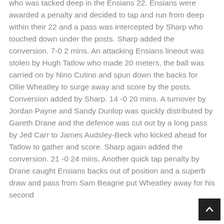who was tacked deep in the Ensians 22. Ensians were awarded a penalty and decided to tap and run from deep within their 22 and a pass was intercepted by Sharp who touched down under the posts. Sharp added the conversion. 7-0 2 mins. An attacking Ensians lineout was stolen by Hugh Tatlow who made 20 meters, the ball was carried on by Nino Cutino and spun down the backs for Ollie Wheatley to surge away and score by the posts. Conversion added by Sharp. 14 -0 20 mins. A turnover by Jordan Payne and Sandy Dunlop was quickly distributed by Gareth Drane and the defence was cut out by a long pass by Jed Carr to James Audsley-Beck who kicked ahead for Tatlow to gather and score. Sharp again added the conversion. 21 -0 24 mins. Another quick tap penalty by Drane caught Ensians backs out of position and a superb draw and pass from Sam Beagrie put Wheatley away for his second